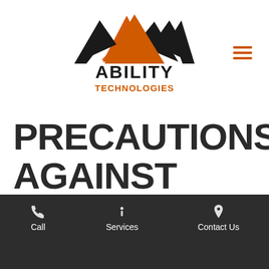[Figure (logo): Ability Technologies logo with mountain peaks icon (black and orange) above text ABILITY in black bold and TECHNOLOGIES in orange]
PRECAUTIONS AGAINST WANNACRY RANSOMWARE
Call   Services   Contact Us